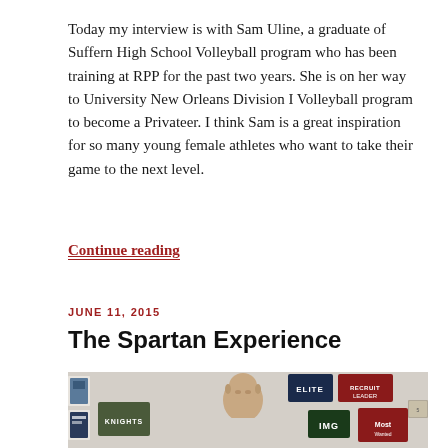Today my interview is with Sam Uline, a graduate of Suffern High School Volleyball program who has been training at RPP for the past two years.  She is on her way to University New Orleans Division I Volleyball program to become a Privateer.   I think Sam is a great inspiration for so many young female athletes who want to take their game to the next level.
Continue reading
JUNE 11, 2015
The Spartan Experience
[Figure (photo): A bald man standing in front of a wall covered with various sports program banners and plaques including KNIGHTS, ELITE, IMG, and other sports organization logos.]